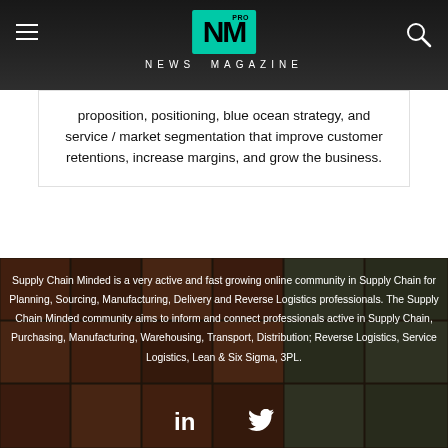NM PRO NEWS MAGAZINE
proposition, positioning, blue ocean strategy, and service / market segmentation that improve customer retentions, increase margins, and grow the business.
Supply Chain Minded is a very active and fast growing online community in Supply Chain for Planning, Sourcing, Manufacturing, Delivery and Reverse Logistics professionals. The Supply Chain Minded community aims to inform and connect professionals active in Supply Chain, Purchasing, Manufacturing, Warehousing, Transport, Distribution; Reverse Logistics, Service Logistics, Lean & Six Sigma, 3PL.
[Figure (logo): LinkedIn and Twitter social media icons in white]